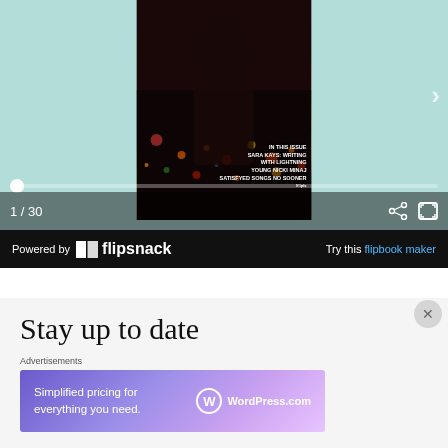[Figure (screenshot): Flipsnack flipbook viewer showing magazine cover with city lights at night. Navigation arrow on right. Progress bar at bottom with dot at start position.]
1 / 30
Powered by flipsnack
Try this flipbook maker
Stay up to date
Advertisements
[Figure (advertisement): WordPress.com advertisement: 'Simplified pricing for everything you need.' with WordPress.com logo on gradient purple background.]